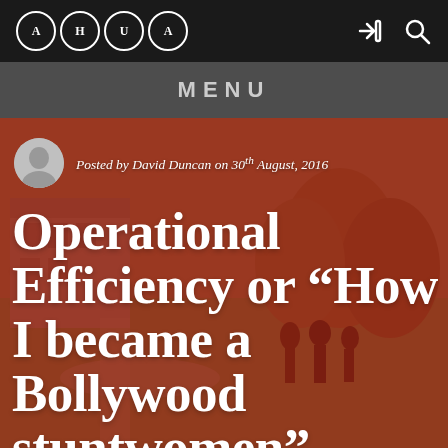AHUA
MENU
[Figure (photo): Hero image with red-tinted campus photo showing people walking on grass with trees and buildings in background]
Posted by David Duncan on 30th August, 2016
Operational Efficiency or “How I became a Bollywood stuntwomen”